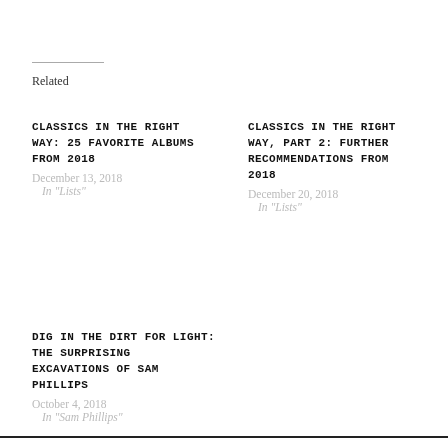Related
CLASSICS IN THE RIGHT WAY: 25 FAVORITE ALBUMS FROM 2018
December 13, 2018
In "Lists"
CLASSICS IN THE RIGHT WAY, PART 2: FURTHER RECOMMENDATIONS FROM 2018
December 20, 2018
In "Lists"
DIG IN THE DIRT FOR LIGHT: THE SURPRISING EXCAVATIONS OF SAM PHILLIPS
October 4, 2018
In "Sam Phillips"